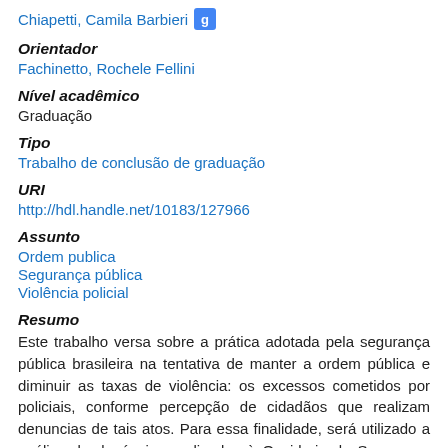Chiapetti, Camila Barbieri
Orientador
Fachinetto, Rochele Fellini
Nível acadêmico
Graduação
Tipo
Trabalho de conclusão de graduação
URI
http://hdl.handle.net/10183/127966
Assunto
Ordem publica
Segurança pública
Violência policial
Resumo
Este trabalho versa sobre a prática adotada pela segurança pública brasileira na tentativa de manter a ordem pública e diminuir as taxas de violência: os excessos cometidos por policiais, conforme percepção de cidadãos que realizam denuncias de tais atos. Para essa finalidade, será utilizado a análise de denúncias realizadas à Ouvidoria de Segurança Pública do Estado do Rio